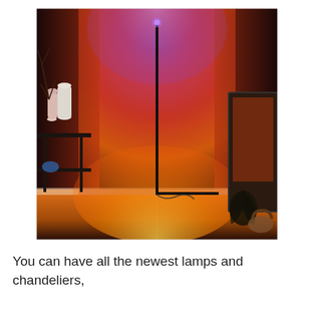[Figure (photo): A corner floor lamp with RGB LED lighting creating a dramatic gradient effect on the walls — purple/violet at the top transitioning through red and orange to yellow at the base. The lamp is a minimalist black metal frame in an L-shape fitted into a room corner. A dark side table with decorative items (vases, a small round lamp) is on the left, and a framed picture and decorative objects are on the right. The floor is wood-toned laminate.]
You can have all the newest lamps and chandeliers,